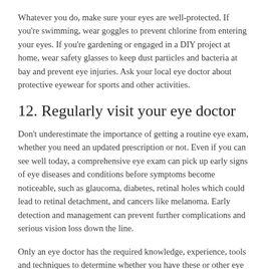Whatever you do, make sure your eyes are well-protected. If you're swimming, wear goggles to prevent chlorine from entering your eyes. If you're gardening or engaged in a DIY project at home, wear safety glasses to keep dust particles and bacteria at bay and prevent eye injuries. Ask your local eye doctor about protective eyewear for sports and other activities.
12. Regularly visit your eye doctor
Don't underestimate the importance of getting a routine eye exam, whether you need an updated prescription or not. Even if you can see well today, a comprehensive eye exam can pick up early signs of eye diseases and conditions before symptoms become noticeable, such as glaucoma, diabetes, retinal holes which could lead to retinal detachment, and cancers like melanoma. Early detection and management can prevent further complications and serious vision loss down the line.
Only an eye doctor has the required knowledge, experience, tools and techniques to determine whether you have these or other eye conditions.
It is recommended that everyone gets a comprehensive eye exam once a year (even those not yet a year). Children also...